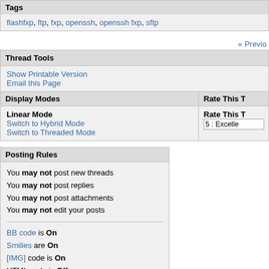Tags
flashfxp, ftp, fxp, openssh, openssh fxp, sftp
« Previo
Thread Tools
Show Printable Version
Email this Page
Display Modes
Rate This T
Linear Mode
Switch to Hybrid Mode
Switch to Threaded Mode
Rate This T
5 : Excelle
Posting Rules
You may not post new threads
You may not post replies
You may not post attachments
You may not edit your posts
BB code is On
Smilies are On
[IMG] code is On
HTML code is Off
Forum Rules